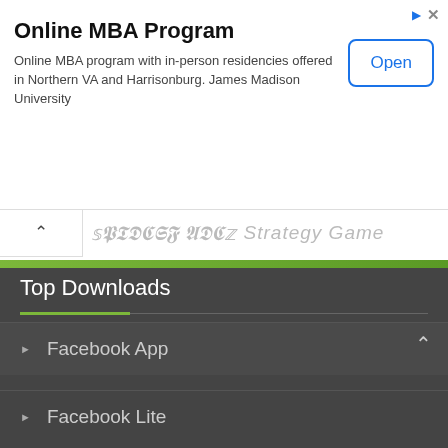[Figure (other): Advertisement banner for Online MBA Program from James Madison University with Open button]
Online MBA Program
Online MBA program with in-person residencies offered in Northern VA and Harrisonburg. James Madison University
Strategy Game (collapsed header)
Simulation Game
Adventure Game
Racing Game
Android Games
Top Downloads
Facebook App
Facebook Lite